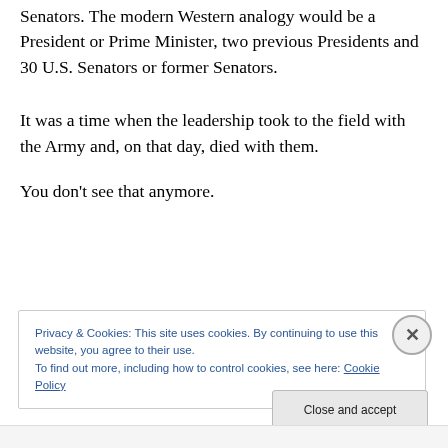Senators.  The modern Western analogy would be a President or Prime Minister, two previous Presidents and 30 U.S.  Senators or former Senators.
It was a time when the leadership took to the field with the Army and, on that day, died with them.
You don't see that anymore.
Privacy & Cookies: This site uses cookies. By continuing to use this website, you agree to their use.
To find out more, including how to control cookies, see here: Cookie Policy
Close and accept